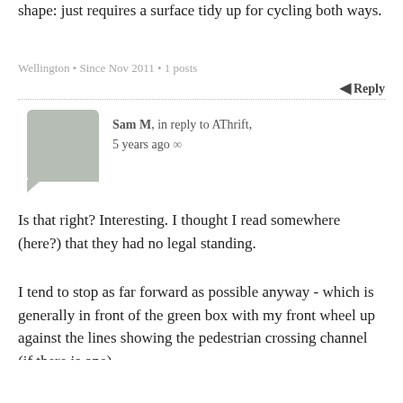shape: just requires a surface tidy up for cycling both ways.
Wellington • Since Nov 2011 • 1 posts
Reply
Sam M, in reply to AThrift, 5 years ago ∞
Is that right? Interesting. I thought I read somewhere (here?) that they had no legal standing.
I tend to stop as far forward as possible anyway - which is generally in front of the green box with my front wheel up against the lines showing the pedestrian crossing channel (if there is one).
Auckland • Since Nov 2006 • 72 posts
Reply
llew40, 5 years ago ∞
other bug-bears .. cars that try and sneak the last of